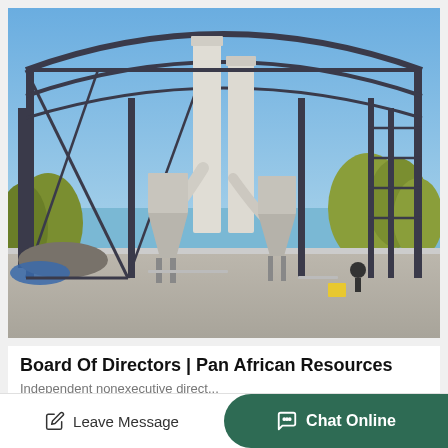[Figure (photo): Industrial facility under construction: steel frame structure with curved roof beams, tall white cylindrical towers/silos, hopper collectors on metal legs, trees visible in background, construction debris on concrete floor, blue sky]
Board Of Directors | Pan African Resources
Independent nonexecutive direct...
Leave Message
Chat Online